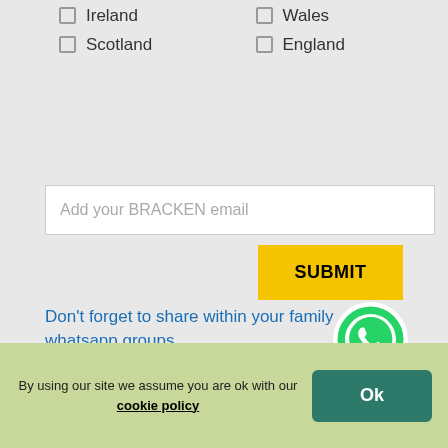Ireland
Wales
Scotland
England
Add your BRACKEN email
SUBMIT
Don't forget to share within your family whatsapp groups
[Figure (logo): WhatsApp green phone icon logo]
Our in-person family gatherings
By using our site we assume you are ok with our cookie policy
Ok